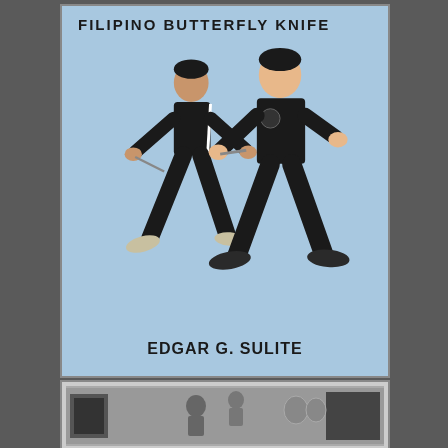[Figure (photo): Book cover of 'Filipino Butterfly Knife' by Edgar G. Sulite. Light blue background. Two men in black clothing demonstrating knife techniques. Title in bold black letters at top. Author name at bottom.]
[Figure (photo): Partial view of another book or photo strip at the bottom showing black and white images of people and objects.]